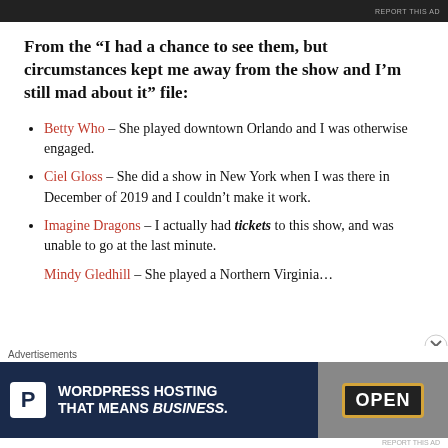REPORT THIS AD
From the “I had a chance to see them, but circumstances kept me away from the show and I’m still mad about it” file:
Betty Who – She played downtown Orlando and I was otherwise engaged.
Ciel Gloss – She did a show in New York when I was there in December of 2019 and I couldn’t make it work.
Imagine Dragons – I actually had tickets to this show, and was unable to go at the last minute.
Mindy Gledhill – She played a Northern Virginia
Advertisements
[Figure (other): Advertisement banner for WordPress hosting with parking icon P and OPEN sign photo. Text: WORDPRESS HOSTING THAT MEANS BUSINESS.]